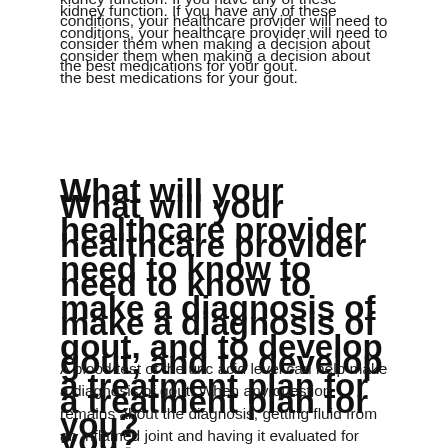kidney function. If you have any of these conditions, your healthcare provider will need to consider them when making a decision about the best medications for your gout.
What will your healthcare provider need to know to make a diagnosis of gout, and to develop a treatment plan for you?
A blood test of the uric acid level can help make a diagnosis of gout. When any question remains about the diagnosis, getting fluid from an inflamed joint and having it evaluated for uric acid crystals will allow a definite diagnosis of gout. Knowing your blood chemistry and your other medical problems will be